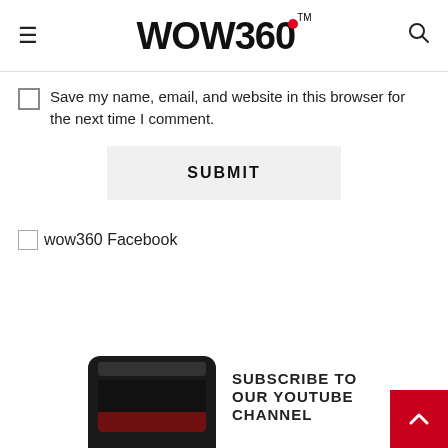WOW 360™
Save my name, email, and website in this browser for the next time I comment.
SUBMIT
[Figure (other): Broken image placeholder labeled 'wow360 Facebook']
wow360 Facebook
[Figure (photo): Mobile phone screenshot showing wow360 app]
SUBSCRIBE TO OUR YOUTUBE CHANNEL